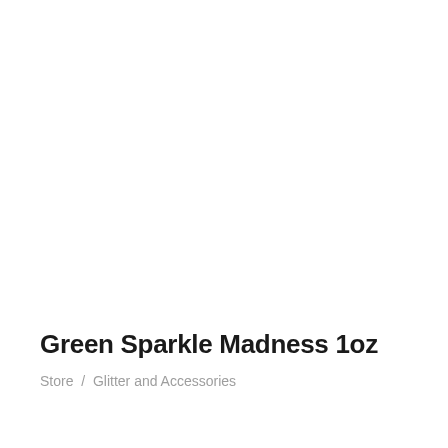Green Sparkle Madness 1oz
Store  /  Glitter and Accessories